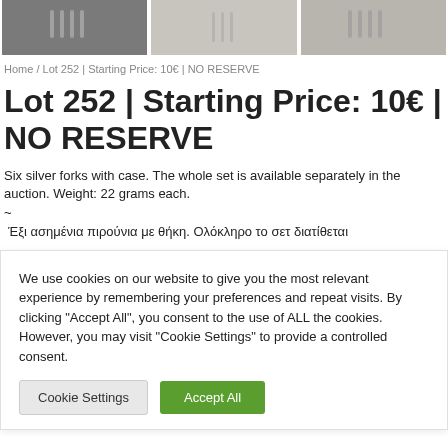[Figure (photo): Three thumbnail images of silver forks with case, shown in a row at the top of the page.]
Home / Lot 252 | Starting Price: 10€ | NO RESERVE
Lot 252 | Starting Price: 10€ | NO RESERVE
Six silver forks with case. The whole set is available separately in the auction. Weight: 22 grams each.
~
Έξι ασημένια πιρούνια με θήκη. Ολόκληρο το σετ διατίθεται
We use cookies on our website to give you the most relevant experience by remembering your preferences and repeat visits. By clicking "Accept All", you consent to the use of ALL the cookies. However, you may visit "Cookie Settings" to provide a controlled consent.